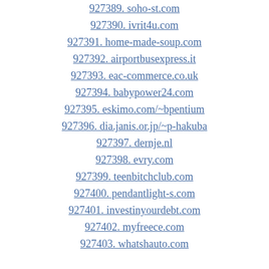927389. soho-st.com
927390. ivrit4u.com
927391. home-made-soup.com
927392. airportbusexpress.it
927393. eac-commerce.co.uk
927394. babypower24.com
927395. eskimo.com/~bpentium
927396. dia.janis.or.jp/~p-hakuba
927397. dernje.nl
927398. evry.com
927399. teenbitchclub.com
927400. pendantlight-s.com
927401. investinyourdebt.com
927402. myfreece.com
927403. whatshauto.com